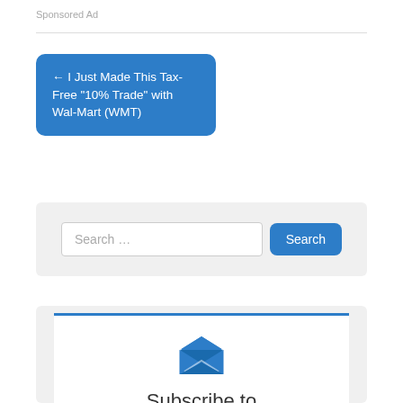Sponsored Ad
← I Just Made This Tax-Free “10% Trade” with Wal-Mart (WMT)
Search …
Subscribe to